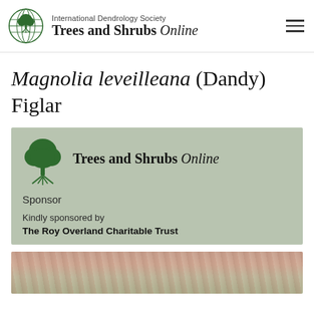International Dendrology Society Trees and Shrubs Online
Magnolia leveilleana (Dandy) Figlar
[Figure (logo): Trees and Shrubs Online logo with tree icon and brand name, sponsor section on sage-green background. Text: Trees and Shrubs Online. Sponsor. Kindly sponsored by The Roy Overland Charitable Trust.]
[Figure (photo): Partial photo of botanical subject at bottom of page]